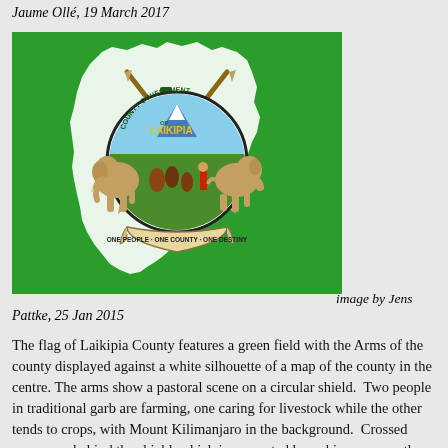Jaume Ollé, 19 March 2017
[Figure (illustration): Flag of Laikipia County: green field with the county coat of arms displayed against a white silhouette of a county map. The arms show a circular shield with a pastoral scene (Mount Kilimanjaro in background, two people farming, livestock). Crossed spears behind the shield, supported by a rhinoceros on the right and an elephant on the left. A scroll below reads ONE PEOPLE · ONE COUNTY · ONE DESTINY.]
image by Jens Pattke, 25 Jan 2015
The flag of Laikipia County features a green field with the Arms of the county displayed against a white silhouette of a map of the county in the centre. The arms show a pastoral scene on a circular shield.  Two people in traditional garb are farming, one caring for livestock while the other tends to crops, with Mount Kilimanjaro in the background.  Crossed spears are behind the shield, which is supported by a rhinoceros on the right and an elephant on the left. Below the shield on a ribbon is the motto "ONE PEOPLE · ONE